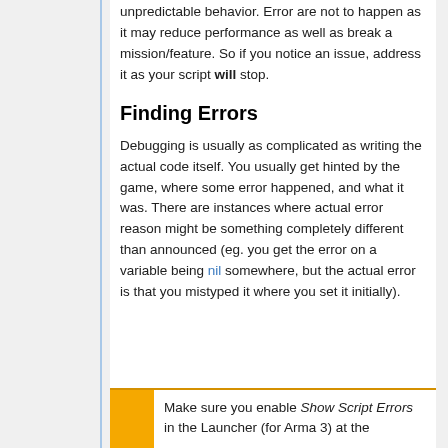unpredictable behavior. Error are not to happen as it may reduce performance as well as break a mission/feature. So if you notice an issue, address it as your script will stop.
Finding Errors
Debugging is usually as complicated as writing the actual code itself. You usually get hinted by the game, where some error happened, and what it was. There are instances where actual error reason might be something completely different than announced (eg. you get the error on a variable being nil somewhere, but the actual error is that you mistyped it where you set it initially).
Make sure you enable Show Script Errors in the Launcher (for Arma 3) at the...